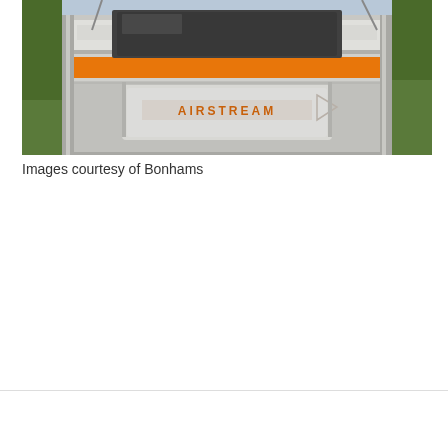[Figure (photo): Close-up front view of an Airstream vehicle showing the silver/chrome exterior with an orange horizontal stripe and the AIRSTREAM lettering on the front panel. Background shows green foliage.]
Images courtesy of Bonhams